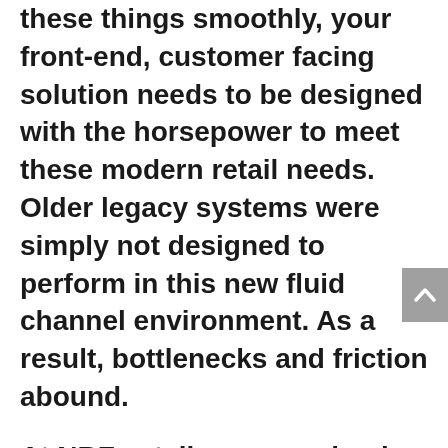these things smoothly, your front-end, customer facing solution needs to be designed with the horsepower to meet these modern retail needs. Older legacy systems were simply not designed to perform in this new fluid channel environment. As a result, bottlenecks and friction abound.
At NRF, retailers were clearly seeing the difference between providers who can talk the talk, and the ones who can actually walk the walk, right now, to deliver Unified Commerce. Rather than just believe the marketing hype, these retailers are learning the two most important words in due diligence are “Show me.” Show me how I can see in real time everything my